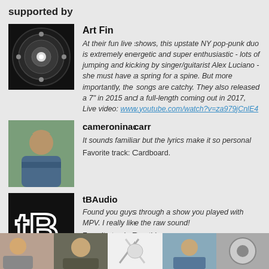supported by
Art Fin
At their fun live shows, this upstate NY pop-punk duo is extremely energetic and super enthusiastic - lots of jumping and kicking by singer/guitarist Alex Luciano - she must have a spring for a spine. But more importantly, the songs are catchy. They also released a 7" in 2015 and a full-length coming out in 2017, Live video: www.youtube.com/watch?v=za979jCnlE4
cameroninacarr
It sounds familiar but the lyrics make it so personal
Favorite track: Cardboard.
tBAudio
Found you guys through a show you played with MPV. I really like the raw sound!
Favorite track: Breathless.
more...
[Figure (photo): Row of five thumbnail profile/album photos at the bottom of the page]